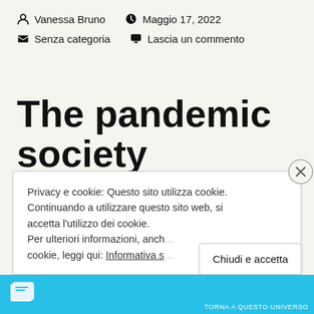Vanessa Bruno   Maggio 17, 2022
Senza categoria   Lascia un commento
The pandemic society
Privacy e cookie: Questo sito utilizza cookie. Continuando a utilizzare questo sito web, si accetta l'utilizzo dei cookie. Per ulteriori informazioni, anche sul controllo dei cookie, leggi qui: Informativa s…
Chiudi e accetta